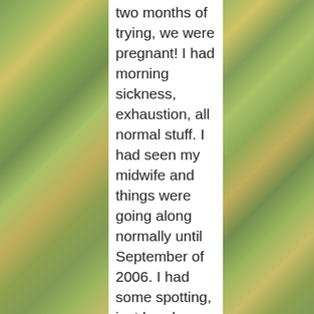two months of trying, we were pregnant! I had morning sickness, exhaustion, all normal stuff. I had seen my midwife and things were going along normally until September of 2006. I had some spotting, just barely. Still, we were concerned enough I called the midwife. She suggested an ultrasound so we went on September 11, saw our baby, heard the heartbeat and were on cloud nine! The baby was measuring right on schedule but it looked as though I had placenta previa and that is what I was told probably caused the